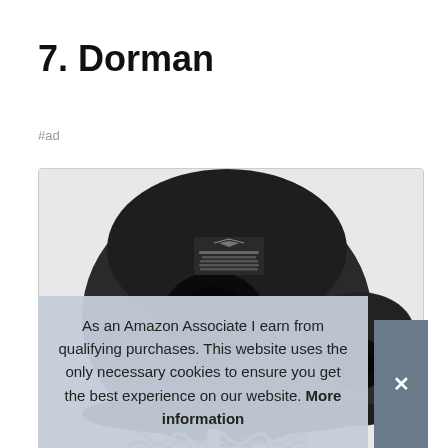7. Dorman
#ad
[Figure (photo): Product photo showing two black rubber ball joint boots/caps (Dorman brand parts) with a coiled spring visible at the bottom edge. The larger boot on the left shows a Dorman label with part number text on top. The image is cropped to show partial view of the parts.]
As an Amazon Associate I earn from qualifying purchases. This website uses the only necessary cookies to ensure you get the best experience on our website. More information